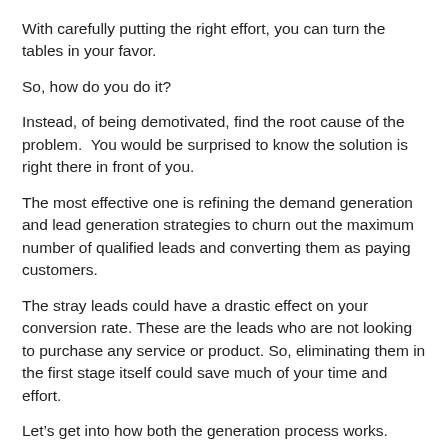With carefully putting the right effort, you can turn the tables in your favor.
So, how do you do it?
Instead, of being demotivated, find the root cause of the problem.  You would be surprised to know the solution is right there in front of you.
The most effective one is refining the demand generation and lead generation strategies to churn out the maximum number of qualified leads and converting them as paying customers.
The stray leads could have a drastic effect on your conversion rate. These are the leads who are not looking to purchase any service or product. So, eliminating them in the first stage itself could save much of your time and effort.
Let’s get into how both the generation process works.